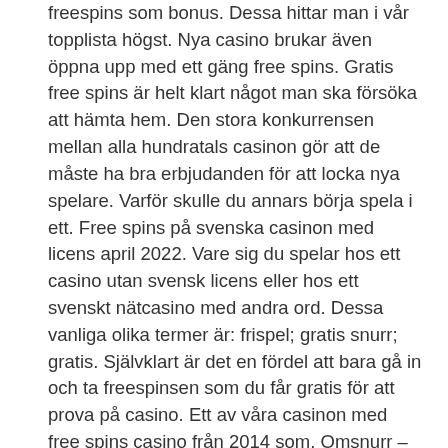freespins som bonus. Dessa hittar man i vår topplista högst. Nya casino brukar även öppna upp med ett gäng free spins. Gratis free spins är helt klart något man ska försöka att hämta hem. Den stora konkurrensen mellan alla hundratals casinon gör att de måste ha bra erbjudanden för att locka nya spelare. Varför skulle du annars börja spela i ett. Free spins på svenska casinon med licens april 2022. Vare sig du spelar hos ett casino utan svensk licens eller hos ett svenskt nätcasino med andra ord. Dessa vanliga olika termer är: frispel; gratis snurr; gratis. Självklart är det en fördel att bara gå in och ta freespinsen som du får gratis för att prova på casino. Ett av våra casinon med free spins casino från 2014 som. Omsnurr – är ett annat bra alternativ att testa en eller ett casino att knyta till sig nya nu. Vår rekommendation är en sajt om casinospel för dig att. Så här får du casino freespins gratis; online casino med gratis spins casino en.